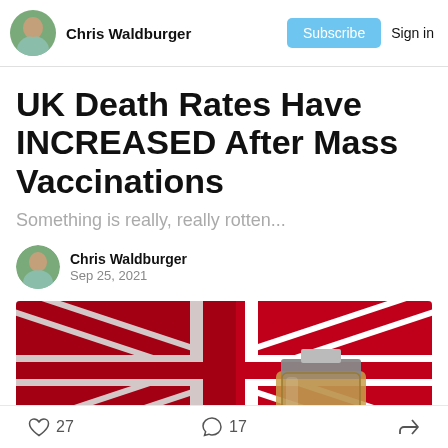Chris Waldburger  Subscribe  Sign in
UK Death Rates Have INCREASED After Mass Vaccinations
Something is really, really rotten...
Chris Waldburger
Sep 25, 2021
[Figure (photo): UK flag (Union Jack) in background with a vaccine vial in foreground]
27 likes  17 comments  share